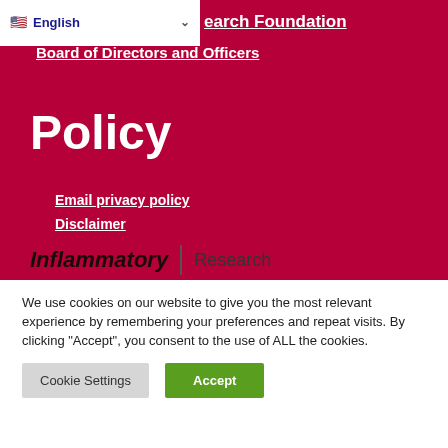English | Research Foundation
Board of Directors and Officers
Policy
Email privacy policy
Disclaimer
Inflammatory | Research
We use cookies on our website to give you the most relevant experience by remembering your preferences and repeat visits. By clicking “Accept”, you consent to the use of ALL the cookies.
Cookie Settings
Accept